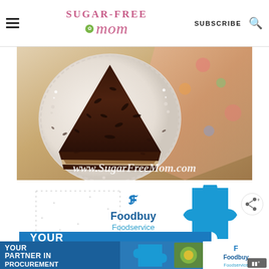Sugar-Free Mom — SUBSCRIBE
[Figure (photo): Overhead photo of a chocolate cake slice on a decorative white plate with a floral napkin. Watermark text reads www.SugarFreeMom.com]
[Figure (infographic): Foodbuy Foodservice advertisement banner with puzzle piece graphic and logo. Text: Foodbuy Foodservice YOUR]
[Figure (infographic): Bottom banner ad: YOUR PARTNER IN PROCUREMENT — Foodbuy Foodservice logo with puzzle piece imagery]